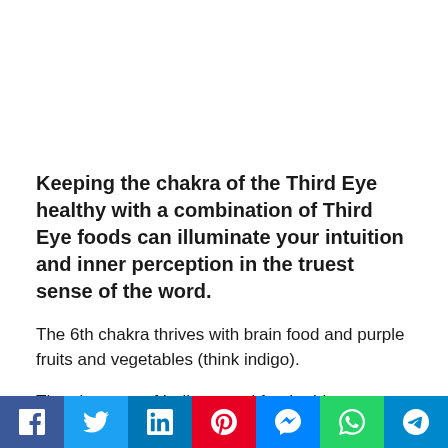Keeping the chakra of the Third Eye healthy with a combination of Third Eye foods can illuminate your intuition and inner perception in the truest sense of the word.
The 6th chakra thrives with brain food and purple fruits and vegetables (think indigo).
The pigments of Indigo stand for the ideas, dreams, values